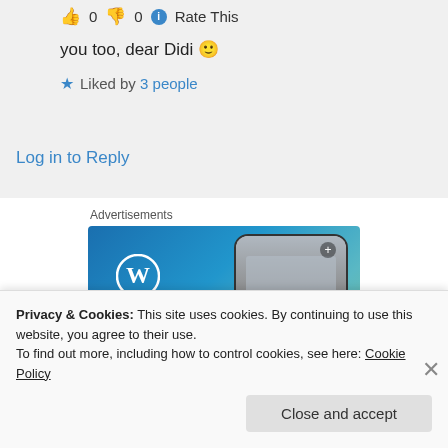👍 0 👎 0 ℹ Rate This
you too, dear Didi 🙂
★ Liked by 3 people
Log in to Reply
Advertisements
[Figure (illustration): WordPress advertisement banner with WordPress logo, 'Create' text, and a phone mockup showing a waterfall image labeled 'VISITING SKOGAFOSS']
Privacy & Cookies: This site uses cookies. By continuing to use this website, you agree to their use.
To find out more, including how to control cookies, see here: Cookie Policy
Close and accept